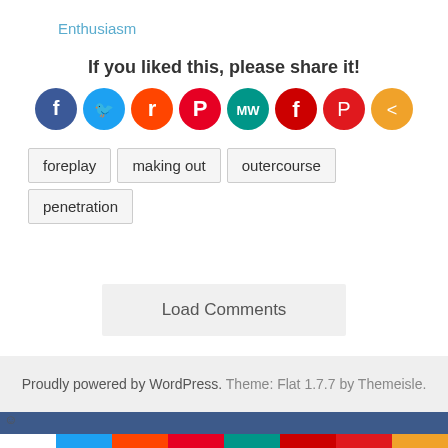Enthusiasm
If you liked this, please share it!
[Figure (infographic): Row of social media share icon circles: Facebook (blue), Twitter (light blue), Reddit (orange), Pinterest (red), MediumWell (teal), Flipboard (red), Parler (red/pink), More (orange)]
foreplay
making out
outercourse
penetration
Load Comments
Proudly powered by WordPress. Theme: Flat 1.7.7 by Themeisle.
[Figure (infographic): Bottom share bar with social media icons: white/Facebook, Facebook blue, Twitter light blue, Reddit orange, Pinterest red, MediumWell teal, Flipboard red, Parler red, More orange]